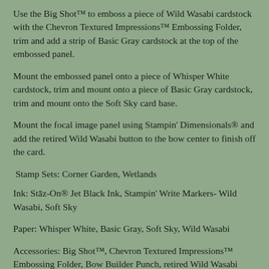Use the Big Shot™ to emboss a piece of Wild Wasabi cardstock with the Chevron Textured Impressions™ Embossing Folder, trim and add a strip of Basic Gray cardstock at the top of the embossed panel.
Mount the embossed panel onto a piece of Whisper White cardstock, trim and mount onto a piece of Basic Gray cardstock, trim and mount onto the Soft Sky card base.
Mount the focal image panel using Stampin' Dimensionals® and add the retired Wild Wasabi button to the bow center to finish off the card.
Stamp Sets: Corner Garden, Wetlands
Ink: Stāz-On® Jet Black Ink, Stampin' Write Markers- Wild Wasabi, Soft Sky
Paper: Whisper White, Basic Gray, Soft Sky, Wild Wasabi
Accessories: Big Shot™, Chevron Textured Impressions™ Embossing Folder, Bow Builder Punch, retired Wild Wasabi